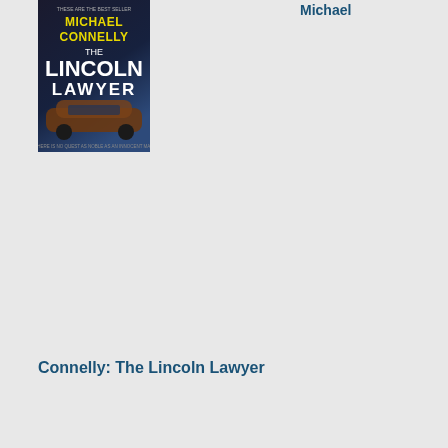[Figure (photo): Book cover: Michael Connelly - The Lincoln Lawyer, dark background with yellow title text and car image]
Michael
we me Ha anc Po for the ver firs tim I am sur tha wh she cre the cha she did not rea th
Connelly: The Lincoln Lawyer
[Figure (photo): Book cover: Jane Ridley - George V: Never a Dull Moment, dark blue with gold V letter]
Jane Ridley: George V: Never a Dull Moment
[Figure (photo): Book cover: Murder by the Book - Mysteries for Bibliophiles]
Martin